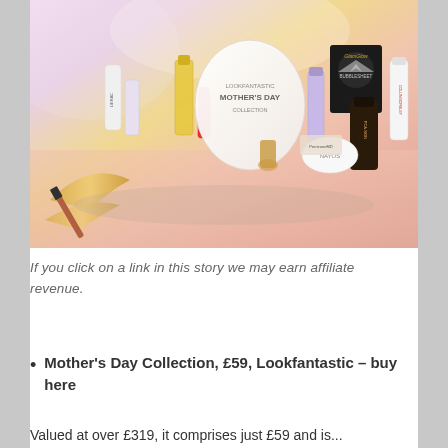[Figure (photo): A flat-lay style beauty product photo showing multiple skincare and beauty products arranged on a pink surface. Products include tubes, bottles, and a black GlamGlow face mask, surrounding a white cylindrical box labeled 'LOOKFANTASTIC MOTHER'S DAY Collection'. A gold ribbon and mascara are visible in the foreground.]
If you click on a link in this story we may earn affiliate revenue.
Mother's Day Collection, £59, Lookfantastic – buy here
Valued at over £319, it comprises just £59 and is...